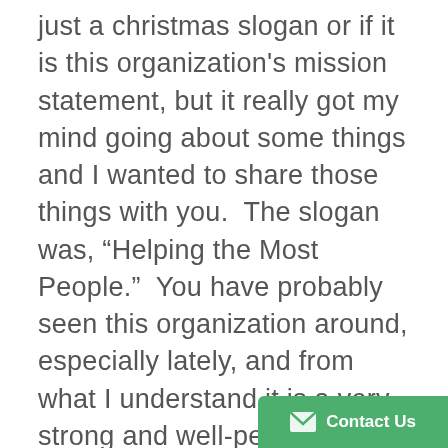just a christmas slogan or if it is this organization's mission statement, but it really got my mind going about some things and I wanted to share those things with you.  The slogan was, “Helping the Most People.”  You have probably seen this organization around, especially lately, and from what I understand it is a very strong and well-performing non profit.  The reason, however, that this slogan got me thinking so hard is because it points to what I believe can be a pitfall for people, churches, and nonprofits.  After rethinking that last sentence (like I said, this slogan really got me thinking) I would say that “pitfall” is too weak of a word for the negative consequences that